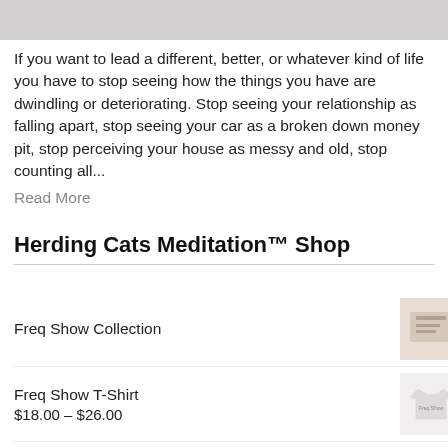[Figure (photo): Top cropped image area, gray background with partial object visible]
If you want to lead a different, better, or whatever kind of life you have to stop seeing how the things you have are dwindling or deteriorating. Stop seeing your relationship as falling apart, stop seeing your car as a broken down money pit, stop perceiving your house as messy and old, stop counting all...
Read More
Herding Cats Meditation™ Shop
Freq Show Collection
Freq Show T-Shirt
$18.00 – $26.00
Freq Show Crop Top
$22.50
Freq Show Sticker